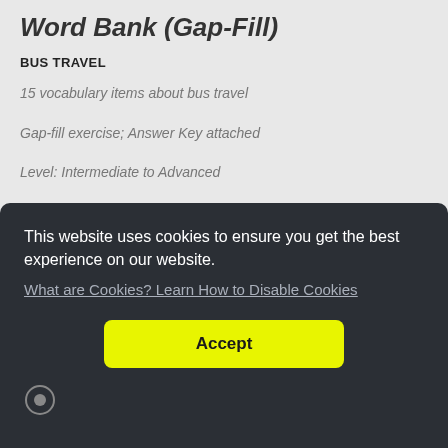Word Bank (Gap-Fill)
BUS TRAVEL
15 vocabulary items about bus travel
Gap-fill exercise; Answer Key attached
Level: Intermediate to Advanced
Approximate Time: 15 – 30 minutes
This website uses cookies to ensure you get the best experience on our website.
What are Cookies? Learn How to Disable Cookies
Accept